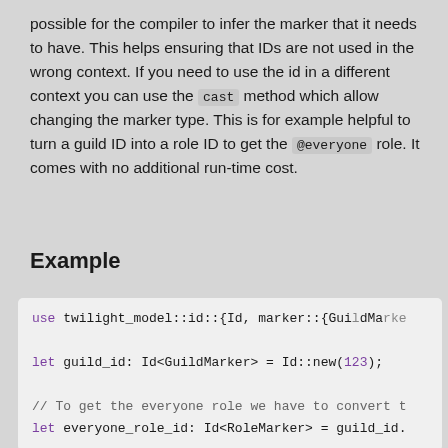possible for the compiler to infer the marker that it needs to have. This helps ensuring that IDs are not used in the wrong context. If you need to use the id in a different context you can use the cast method which allow changing the marker type. This is for example helpful to turn a guild ID into a role ID to get the @everyone role. It comes with no additional run-time cost.
Example
[Figure (screenshot): Code block showing Rust code using twilight_model::id with GuildMarker and RoleMarker types.]